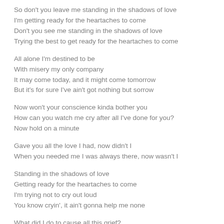So don't you leave me standing in the shadows of love
I'm getting ready for the heartaches to come
Don't you see me standing in the shadows of love
Trying the best to get ready for the heartaches to come
All alone I'm destined to be
With misery my only company
It may come today, and it might come tomorrow
But it's for sure I've ain't got nothing but sorrow
Now won't your conscience kinda bother you
How can you watch me cry after all I've done for you?
Now hold on a minute
Gave you all the love I had, now didn't I
When you needed me I was always there, now wasn't I
Standing in the shadows of love
Getting ready for the heartaches to come
I'm trying not to cry out loud
You know cryin', it ain't gonna help me none
What did I do to cause all this grief?
Now what did I say to make you wanna leave?